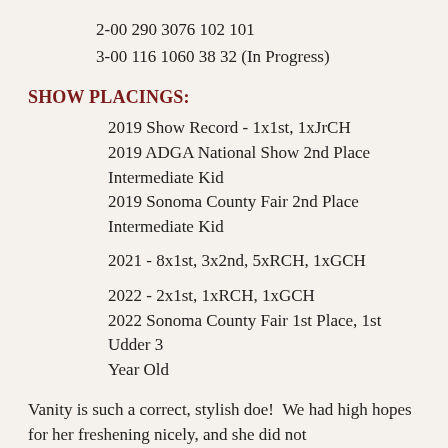2-00 290 3076 102 101
3-00 116 1060 38 32 (In Progress)
SHOW PLACINGS:
2019 Show Record - 1x1st, 1xJrCH
2019 ADGA National Show 2nd Place Intermediate Kid
2019 Sonoma County Fair 2nd Place Intermediate Kid
2021 - 8x1st, 3x2nd, 5xRCH, 1xGCH
2022 - 2x1st, 1xRCH, 1xGCH
2022 Sonoma County Fair 1st Place, 1st Udder 3 Year Old
Vanity is such a correct, stylish doe!  We had high hopes for her freshening nicely, and she did not